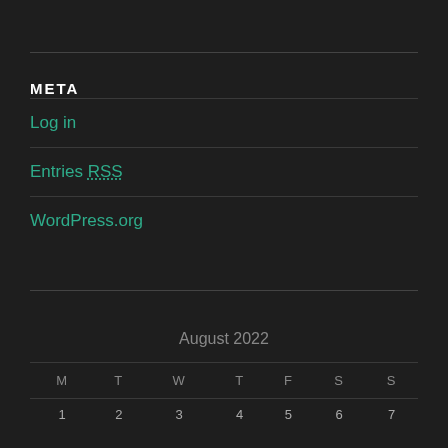META
Log in
Entries RSS
WordPress.org
| M | T | W | T | F | S | S |
| --- | --- | --- | --- | --- | --- | --- |
| 1 | 2 | 3 | 4 | 5 | 6 | 7 |